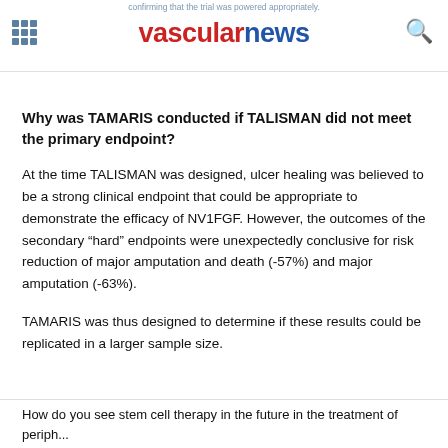confirming that the trial was powered appropriately. vascularnews
Why was TAMARIS conducted if TALISMAN did not meet the primary endpoint?
At the time TALISMAN was designed, ulcer healing was believed to be a strong clinical endpoint that could be appropriate to demonstrate the efficacy of NV1FGF. However, the outcomes of the secondary “hard” endpoints were unexpectedly conclusive for risk reduction of major amputation and death (-57%) and major amputation (-63%).
TAMARIS was thus designed to determine if these results could be replicated in a larger sample size.
How do you see stem cell therapy in the future in the treatment of periph...